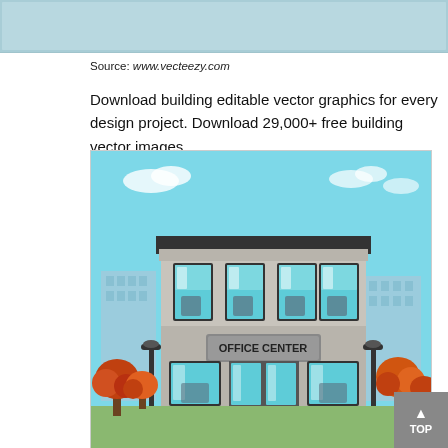[Figure (illustration): Partial top strip showing light blue/teal background image banner from vecteezy.com]
Source: www.vecteezy.com
Download building editable vector graphics for every design project. Download 29,000+ free building vector images.
[Figure (illustration): Flat design illustration of an Office Center building with four large windows on the upper floor showing silhouettes of people working, a sign reading OFFICE CENTER, glass entrance doors, autumn trees on both sides, street lamps, and city skyline in the background under a light blue sky.]